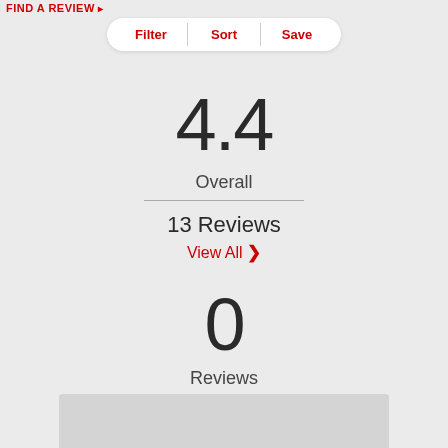FIND A REVIEW >
Filter  Sort  Save
4.4
Overall
13 Reviews
View All >
0
Reviews